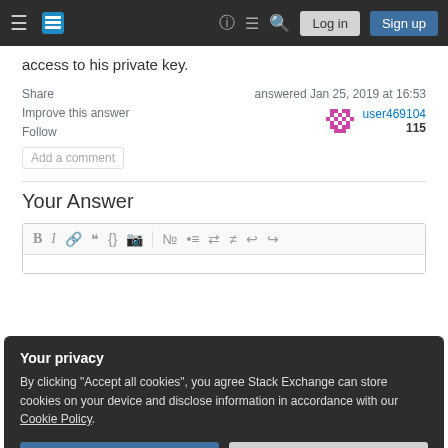Stack Exchange navigation bar with Log in and Sign up buttons
access to his private key.
Share | Improve this answer | Follow
answered Jan 25, 2019 at 16:53
user469104
115
Add a comment
Your Answer
[Figure (screenshot): Rich text editor toolbar with Bold, Italic, Link, Quote, Code, Image, ordered list, unordered list, alignment, undo, redo buttons]
Your privacy
By clicking "Accept all cookies", you agree Stack Exchange can store cookies on your device and disclose information in accordance with our Cookie Policy.
Accept all cookies | Customize settings